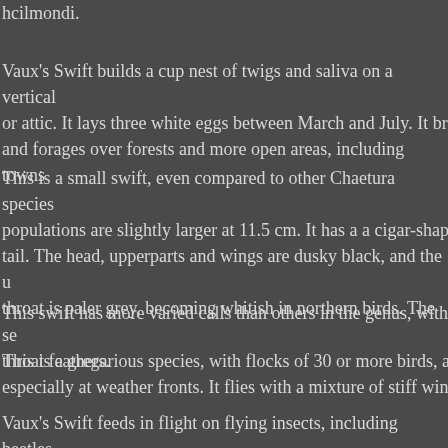hcilmondi.
Vaux's Swift builds a cup nest of twigs and saliva on a vertical or attic. It lays three white eggs between March and July. It br and forages over forests and more open areas, including towns
This is a small swift, even compared to other Chaetura species populations are slightly larger at 11.5 cm. It has a a cigar-shap tail. The head, upperparts and wings are dusky black, and the u throat is paler grey, becoming whitish in northern birds. The se throat feathers.
This swift has more varied calls than others in the genus, with
This is a gregarious species, with flocks of 30 or more birds, a especially at weather fronts. It flies with a mixture of stiff win
Vaux's Swift feeds in flight on flying insects, including beetles